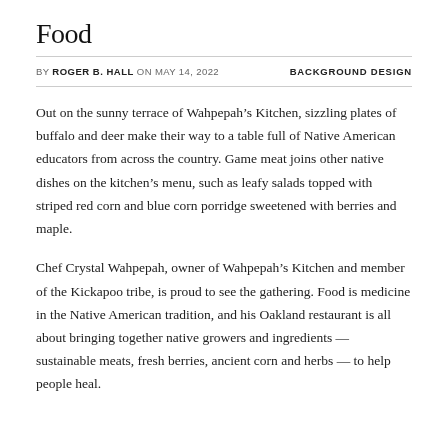Food
BY ROGER B. HALL ON MAY 14, 2022    BACKGROUND DESIGN
Out on the sunny terrace of Wahpepah's Kitchen, sizzling plates of buffalo and deer make their way to a table full of Native American educators from across the country. Game meat joins other native dishes on the kitchen's menu, such as leafy salads topped with striped red corn and blue corn porridge sweetened with berries and maple.
Chef Crystal Wahpepah, owner of Wahpepah's Kitchen and member of the Kickapoo tribe, is proud to see the gathering. Food is medicine in the Native American tradition, and his Oakland restaurant is all about bringing together native growers and ingredients — sustainable meats, fresh berries, ancient corn and herbs — to help people heal.